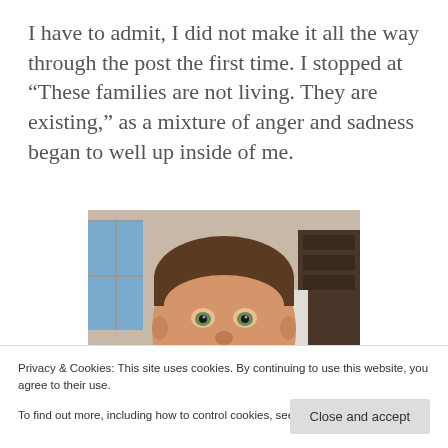I have to admit, I did not make it all the way through the post the first time. I stopped at “These families are not living. They are existing,” as a mixture of anger and sadness began to well up inside of me.
[Figure (photo): Close-up photo of a young boy with short brown hair and a bowl cut, looking at the camera with a slight smile, hand raised near his face, indoors with a window visible in the background.]
Privacy & Cookies: This site uses cookies. By continuing to use this website, you agree to their use.
To find out more, including how to control cookies, see here: Cookie Policy